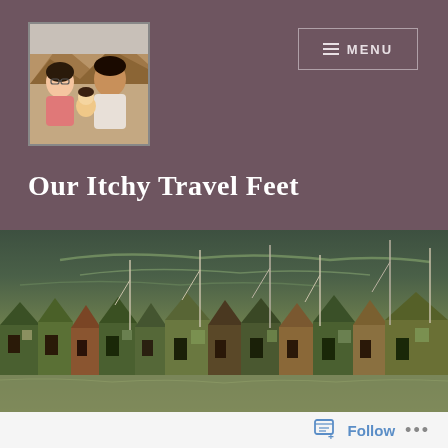[Figure (photo): Profile photo of a family (two adults and a baby) outdoors with rocky landscape background]
Our Itchy Travel Feet
[Figure (photo): Harbor scene with colorful Dutch-style houses with steep roofs, sailboat masts, and a dramatic dark green sky]
Follow ...